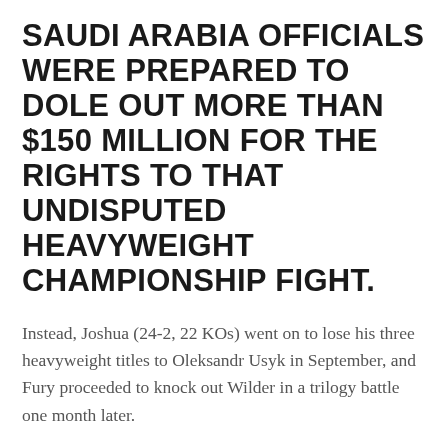Saudi Arabia officials were prepared to dole out more than $150 million for the rights to that undisputed heavyweight championship fight.
Instead, Joshua (24-2, 22 KOs) went on to lose his three heavyweight titles to Oleksandr Usyk in September, and Fury proceeded to knock out Wilder in a trilogy battle one month later.
Now, Usyk and Joshua, 32, are set to rematch on Aug. 20 in Saudi Arabia, while Fury surely will be approached with a large sum of money to meet the